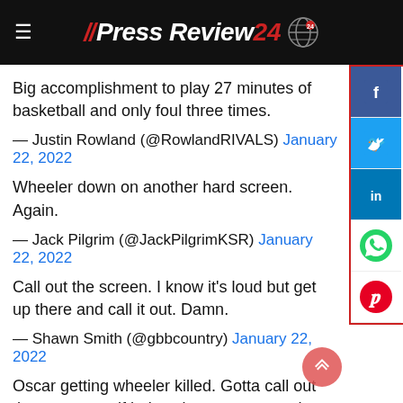// PressReview 24
Big accomplishment to play 27 minutes of basketball and only foul three times.
— Justin Rowland (@RowlandRIVALS) January 22, 2022
Wheeler down on another hard screen. Again.
— Jack Pilgrim (@JackPilgrimKSR) January 22, 2022
Call out the screen. I know it's loud but get up there and call it out. Damn.
— Shawn Smith (@gbbcountry) January 22, 2022
Oscar getting wheeler killed. Gotta call out those screens if he's going to pressure the ball full court like that